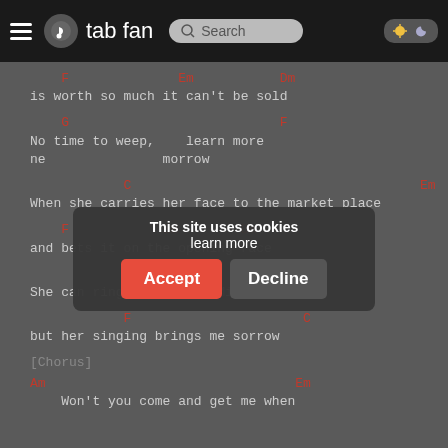tab fan — Search header bar
F                Em           Dm
is worth so much it can't be sold
G                              F                    C
No time to weep,           ne morrow
C                                          Em
When she carries her face to the market place
F            Em          Dm
and bets it on the opening race
G
She can ring her bells, Miss Carousel,
F                    C
but her singing brings me sorrow
[Chorus]
Am                              Em
   Won't you come and get me when